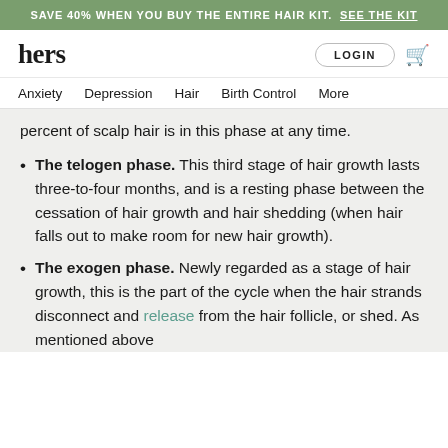SAVE 40% WHEN YOU BUY THE ENTIRE HAIR KIT. SEE THE KIT
hers | LOGIN
Anxiety  Depression  Hair  Birth Control  More
percent of scalp hair is in this phase at any time.
The telogen phase. This third stage of hair growth lasts three-to-four months, and is a resting phase between the cessation of hair growth and hair shedding (when hair falls out to make room for new hair growth).
The exogen phase. Newly regarded as a stage of hair growth, this is the part of the cycle when the hair strands disconnect and release from the hair follicle, or shed. As mentioned above